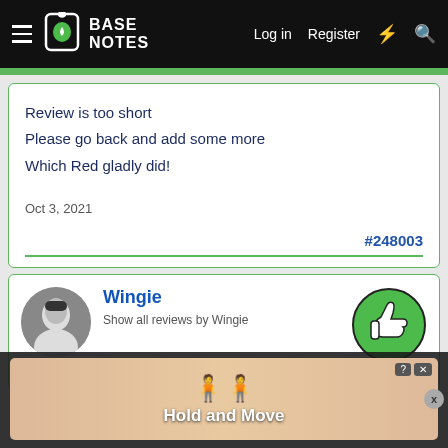BASE NOTES — Log in  Register
Review is too short
Please go back and add some more
Which Red gladly did!
Oct 3, 2021
#248003
Wingie
Show all reviews by Wingie
[Figure (screenshot): Hold and Move ad overlay with two person icons and close/help buttons]